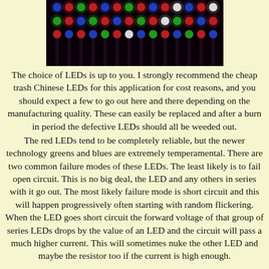[Figure (photo): Photograph of a matrix/grid of multicolored LEDs (red, green, blue, white) on dark background, showing LED array display panel]
The choice of LEDs is up to you. I strongly recommend the cheap trash Chinese LEDs for this application for cost reasons, and you should expect a few to go out here and there depending on the manufacturing quality. These can easily be replaced and after a burn in period the defective LEDs should all be weeded out.
The red LEDs tend to be completely reliable, but the newer technology greens and blues are extremely temperamental. There are two common failure modes of these LEDs. The least likely is to fail open circuit. This is no big deal, the LED and any others in series with it go out. The most likely failure mode is short circuit and this will happen progressively often starting with random flickering. When the LED goes short circuit the forward voltage of that group of series LEDs drops by the value of an LED and the circuit will pass a much higher current. This will sometimes nuke the other LED and maybe the resistor too if the current is high enough.